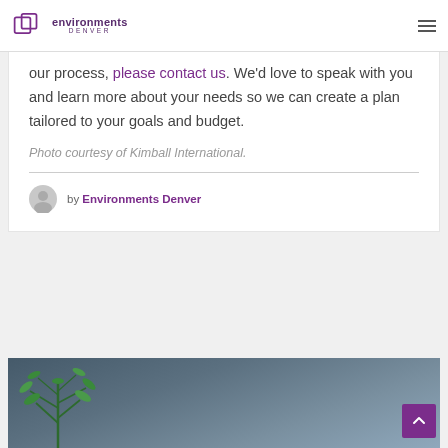Environments Denver
our process, please contact us. We'd love to speak with you and learn more about your needs so we can create a plan tailored to your goals and budget.
Photo courtesy of Kimball International.
by Environments Denver
[Figure (photo): Bottom portion of a webpage showing a dark teal/grey background with a green plant in the lower left corner]